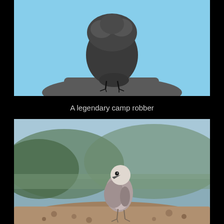[Figure (photo): Close-up photo of a dark gray fluffy bird (Gray Jay / camp robber) perched on a rock, viewed from behind/side, against a light blue sky background.]
A legendary camp robber
[Figure (photo): Photo of a Gray Jay (camp robber) bird with pale gray and white plumage standing on a rocky surface, with blurred green mountain and blue sky background.]